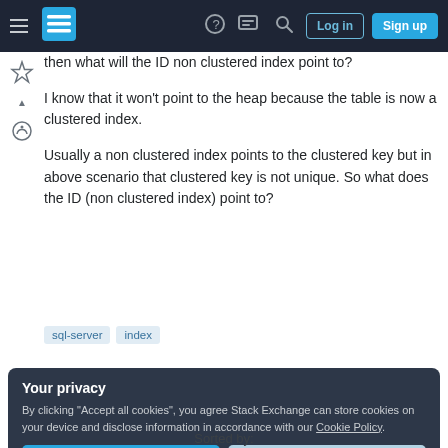Stack Exchange navigation bar with hamburger menu, logo, help, chat, search, Log in, Sign up buttons
then what will the ID non clustered index point to?
I know that it won't point to the heap because the table is now a clustered index.
Usually a non clustered index points to the clustered key but in above scenario that clustered key is not unique. So what does the ID (non clustered index) point to?
sql-server
index
Your privacy
By clicking "Accept all cookies", you agree Stack Exchange can store cookies on your device and disclose information in accordance with our Cookie Policy.
Accept all cookies
Customize settings
Sorted by: